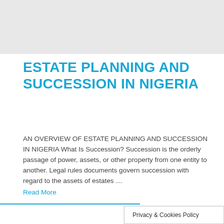[Figure (other): Gray banner image area at top of page]
ESTATE PLANNING AND SUCCESSION IN NIGERIA
AN OVERVIEW OF ESTATE PLANNING AND SUCCESSION IN NIGERIA What Is Succession? Succession is the orderly passage of power, assets, or other property from one entity to another. Legal rules documents govern succession with regard to the assets of estates …
Read More
Privacy & Cookies Policy